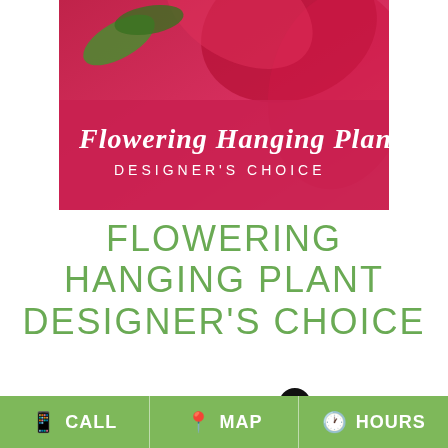[Figure (photo): Product photo of a flowering hanging plant with red flowers and green leaves, with overlay text 'Flowering Hanging Plant DESIGNER'S CHOICE' on a pink/red background]
FLOWERING HANGING PLANT DESIGNER'S CHOICE
Shown at $60.00
BUY NOW
CALL   MAP   HOURS